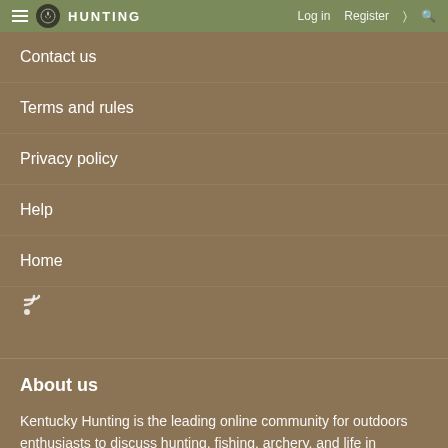HUNTING | Log in | Register
Contact us
Terms and rules
Privacy policy
Help
Home
[Figure (other): RSS feed icon]
About us
Kentucky Hunting is the leading online community for outdoors enthusiasts to discuss hunting, fishing, archery, and life in Kentucky.
Kentucky Hunting Features
Forums List